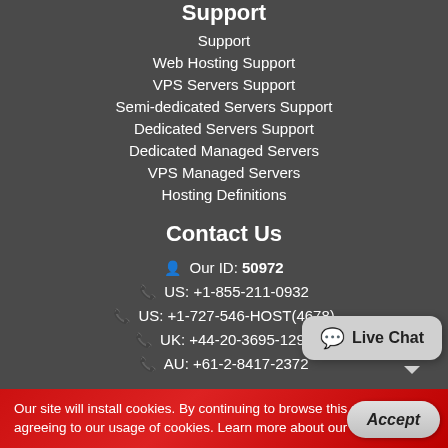Support
Support
Web Hosting Support
VPS Servers Support
Semi-dedicated Servers Support
Dedicated Servers Support
Dedicated Managed Servers
VPS Managed Servers
Hosting Definitions
Contact Us
Our ID: 50972
US: +1-855-211-0932
US: +1-727-546-HOST(4678)
UK: +44-20-3695-1294
AU: +61-2-8417-2372
Live Chat
Our site will install cookies. By continuing to browse this site you are agreeing to our usage of cookies. Learn more about our cookies here.
Accept